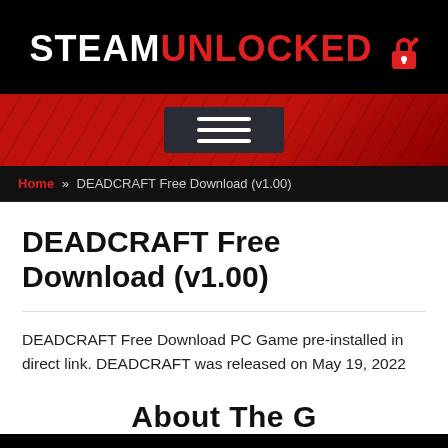STEAMUNLOCKED
[Figure (other): Navigation bar with hamburger menu button on red background]
Home » DEADCRAFT Free Download (v1.00)
DEADCRAFT Free Download (v1.00)
DEADCRAFT Free Download PC Game pre-installed in direct link. DEADCRAFT was released on May 19, 2022
About The G...